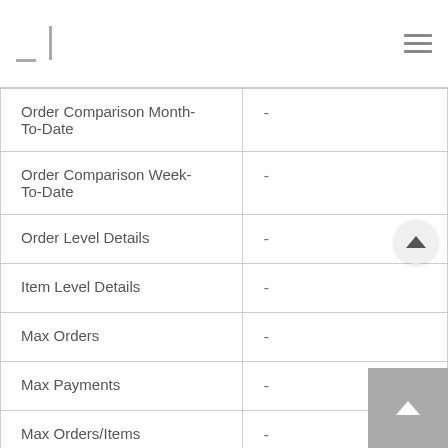| Feature | Value |
| --- | --- |
| Order Comparison Month-To-Date | - |
| Order Comparison Week-To-Date | - |
| Order Level Details | - |
| Item Level Details | - |
| Max Orders | - |
| Max Payments | - |
| Max Orders/Items | - |